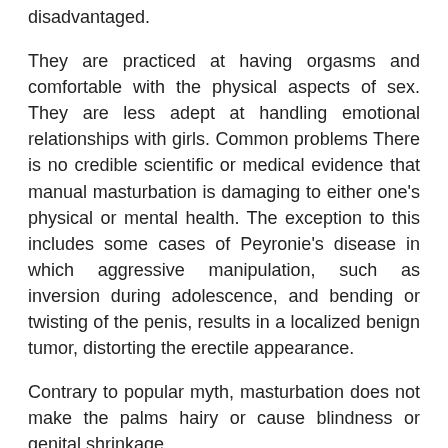disadvantaged.
They are practiced at having orgasms and comfortable with the physical aspects of sex. They are less adept at handling emotional relationships with girls. Common problems There is no credible scientific or medical evidence that manual masturbation is damaging to either one's physical or mental health. The exception to this includes some cases of Peyronie's disease in which aggressive manipulation, such as inversion during adolescence, and bending or twisting of the penis, results in a localized benign tumor, distorting the erectile appearance.
Contrary to popular myth, masturbation does not make the palms hairy or cause blindness or genital shrinkage.